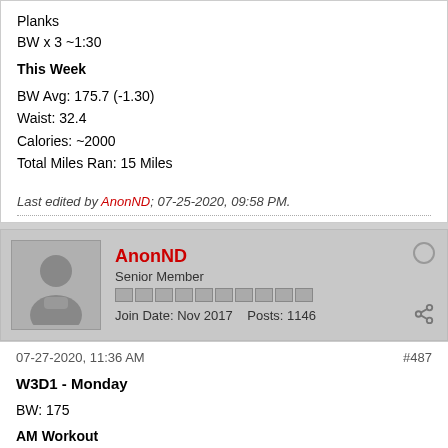Planks
BW x 3 ~1:30
This Week
BW Avg: 175.7 (-1.30)
Waist: 32.4
Calories: ~2000
Total Miles Ran: 15 Miles
Last edited by AnonND; 07-25-2020, 09:58 PM.
AnonND
Senior Member
Join Date: Nov 2017  Posts: 1146
07-27-2020, 11:36 AM
#487
W3D1 - Monday
BW: 175
AM Workout